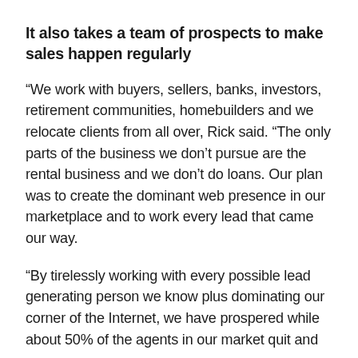It also takes a team of prospects to make sales happen regularly
“We work with buyers, sellers, banks, investors, retirement communities, homebuilders and we relocate clients from all over, Rick said. “The only parts of the business we don’t pursue are the rental business and we don’t do loans. Our plan was to create the dominant web presence in our marketplace and to work every lead that came our way.
“By tirelessly working with every possible lead generating person we know plus dominating our corner of the Internet, we have prospered while about 50% of the agents in our market quit and